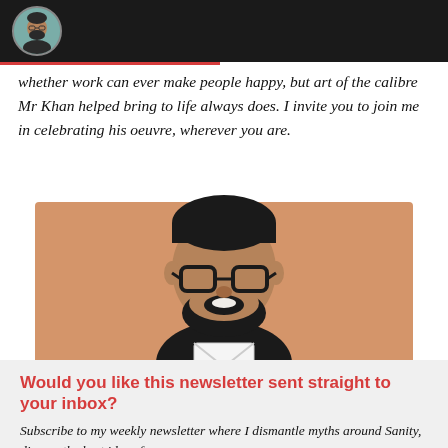whether work can ever make people happy, but art of the calibre Mr Khan helped bring to life always does. I invite you to join me in celebrating his oeuvre, wherever you are.
[Figure (illustration): Illustrated portrait of a man with glasses and a beard wearing a dark shirt, with an envelope icon at his chest, on a tan/peach background]
Would you like this newsletter sent straight to your inbox?
Subscribe to my weekly newsletter where I dismantle myths around Sanity, discuss the best ideas from our